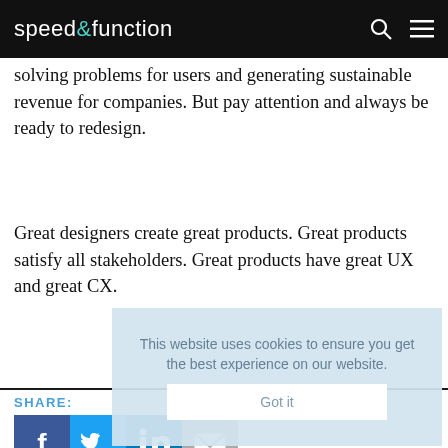speed&function
solving problems for users and generating sustainable revenue for companies. But pay attention and always be ready to redesign.
Great designers create great products. Great products satisfy all stakeholders. Great products have great UX and great CX.
SHARE:
[Figure (screenshot): Social share icons: Facebook, Twitter, LinkedIn, Email]
This website uses cookies to ensure you get the best experience on our website. Got it